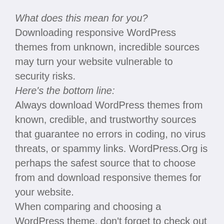What does this mean for you? Downloading responsive WordPress themes from unknown, incredible sources may turn your website vulnerable to security risks. Here's the bottom line: Always download WordPress themes from known, credible, and trustworthy sources that guarantee no errors in coding, no virus threats, or spammy links. WordPress.Org is perhaps the safest source that to choose from and download responsive themes for your website. When comparing and choosing a WordPress theme, don't forget to check out the reviews and ensure if the theme is well-supported.
3. Keep it Non-Complex